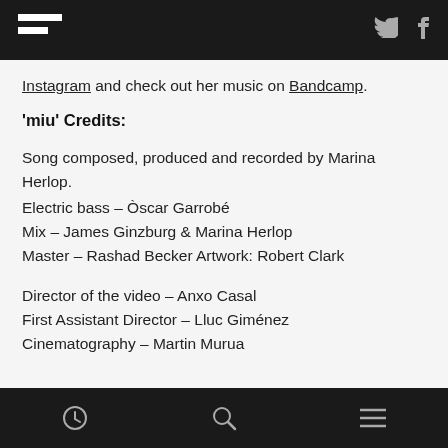F [logo] | Twitter | Facebook
Instagram and check out her music on Bandcamp.
'miu' Credits:
Song composed, produced and recorded by Marina Herlop.
Electric bass – Òscar Garrobé
Mix – James Ginzburg & Marina Herlop
Master – Rashad Becker Artwork: Robert Clark
Director of the video – Anxo Casal
First Assistant Director – Lluc Giménez
Cinematography – Martin Murua
[clock icon] [search icon] [menu icon]